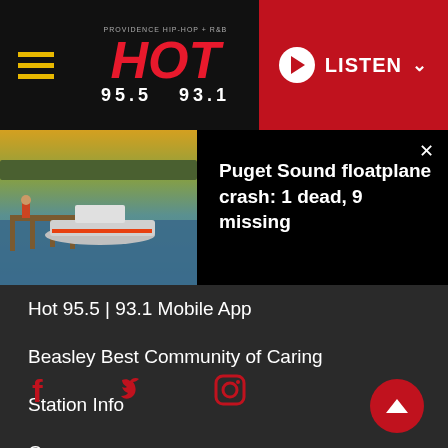HOT 95.5 | 93.1 — LISTEN
[Figure (photo): Coast Guard or police boat docked at a pier with water and treeline in background, related to Puget Sound floatplane crash coverage]
Puget Sound floatplane crash: 1 dead, 9 missing
Hot 95.5 | 93.1 Mobile App
Beasley Best Community of Caring
Station Info
Careers
Learn How To Advertise On Augusta Radio